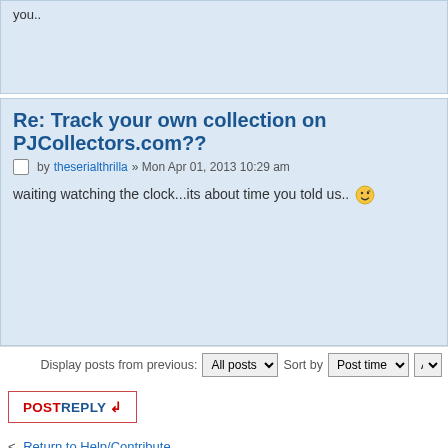you..
Re: Track your own collection on PJCollectors.com??
by theserialthrilla » Mon Apr 01, 2013 10:29 am
waiting watching the clock...its about time you told us.. 😄
Display posts from previous: All posts  Sort by Post time
POSTREPLY
Return to Help/Contribute